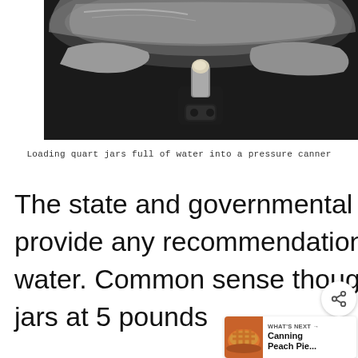[Figure (photo): Close-up photograph of a pressure canner lid mechanism, showing a metallic handle and pressure gauge/valve assembly against a dark background.]
Loading quart jars full of water into a pressure canner
The state and governmental agencies don't actually provide any recommendations for pressure canni water. Common sense though, that processing the jars at 5 pounds